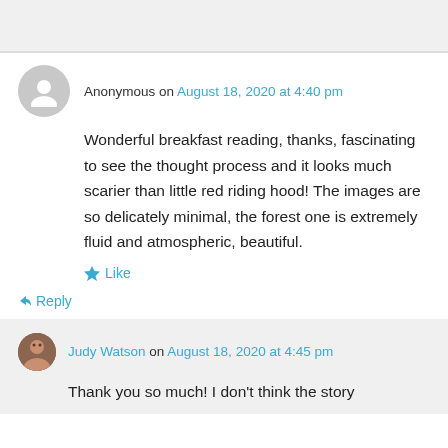Anonymous on August 18, 2020 at 4:40 pm
Wonderful breakfast reading, thanks, fascinating to see the thought process and it looks much scarier than little red riding hood! The images are so delicately minimal, the forest one is extremely fluid and atmospheric, beautiful.
Like
Reply
Judy Watson on August 18, 2020 at 4:45 pm
Thank you so much! I don't think the story